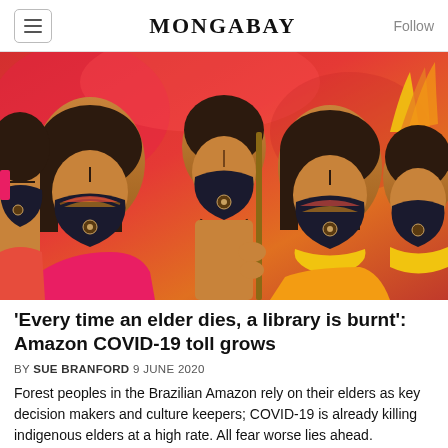MONGABAY
[Figure (photo): Indigenous Amazon people wearing COVID-19 face masks with traditional face paint and headdresses, posed against a red/pink background. Multiple figures visible including women with masks and a shirtless man holding a staff in the center.]
'Every time an elder dies, a library is burnt': Amazon COVID-19 toll grows
BY SUE BRANFORD 9 JUNE 2020
Forest peoples in the Brazilian Amazon rely on their elders as key decision makers and culture keepers; COVID-19 is already killing indigenous elders at a high rate. All fear worse lies ahead.